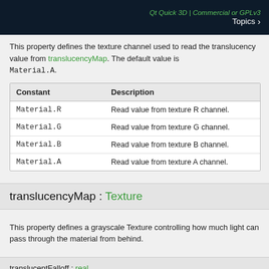Qt Quick 3D | Commercial or GPLv3  Topics >
This property defines the texture channel used to read the translucency value from translucencyMap. The default value is Material.A.
| Constant | Description |
| --- | --- |
| Material.R | Read value from texture R channel. |
| Material.G | Read value from texture G channel. |
| Material.B | Read value from texture B channel. |
| Material.A | Read value from texture A channel. |
translucencyMap : Texture
This property defines a grayscale Texture controlling how much light can pass through the material from behind.
translucentFalloff : real